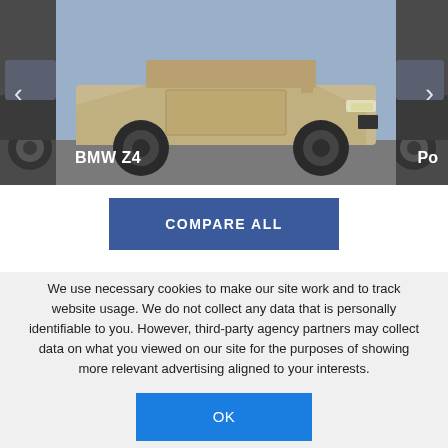[Figure (photo): Car carousel showing a BMW Z4 in the center (gold/beige convertible), dark car partially visible on left, and another car (Porsche) partially visible on right. Navigation arrows on left and right sides.]
BMW Z4
Po
COMPARE ALL
We use necessary cookies to make our site work and to track website usage. We do not collect any data that is personally identifiable to you. However, third-party agency partners may collect data on what you viewed on our site for the purposes of showing more relevant advertising aligned to your interests.
OK